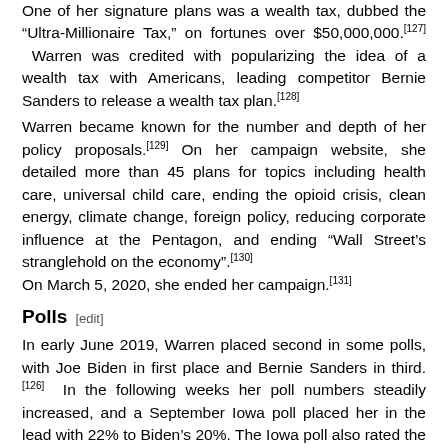One of her signature plans was a wealth tax, dubbed the "Ultra-Millionaire Tax," on fortunes over $50,000,000.[127] Warren was credited with popularizing the idea of a wealth tax with Americans, leading competitor Bernie Sanders to release a wealth tax plan.[128]
Warren became known for the number and depth of her policy proposals.[129] On her campaign website, she detailed more than 45 plans for topics including health care, universal child care, ending the opioid crisis, clean energy, climate change, foreign policy, reducing corporate influence at the Pentagon, and ending "Wall Street's stranglehold on the economy".[130] On March 5, 2020, she ended her campaign.[131]
Polls [edit]
In early June 2019, Warren placed second in some polls, with Joe Biden in first place and Bernie Sanders in third. [126] In the following weeks her poll numbers steadily increased, and a September Iowa poll placed her in the lead with 22% to Biden's 20%. The Iowa poll also rated the number of voters at least considering voting for each candidate; Warren scored 71% to Biden's 60%. Poll respondents also gave her a higher "enthusiasm"